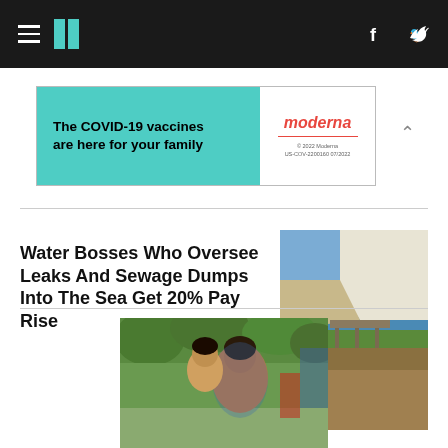HuffPost navigation header with hamburger menu, logo, Facebook and Twitter icons
[Figure (screenshot): Moderna COVID-19 vaccine advertisement banner: 'The COVID-19 vaccines are here for your family' with Moderna logo]
Water Bosses Who Oversee Leaks And Sewage Dumps Into The Sea Get 20% Pay Rise
[Figure (photo): Aerial photo of white cliffs and coastline with sea]
[Figure (photo): Woman and young child smiling outdoors in a park setting]